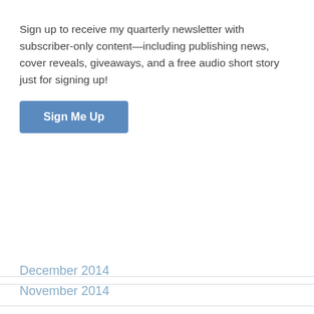Sign up to receive my quarterly newsletter with subscriber-only content—including publishing news, cover reveals, giveaways, and a free audio short story just for signing up!
Sign Me Up
December 2014
November 2014
October 2014
September 2014
August 2014
July 2014